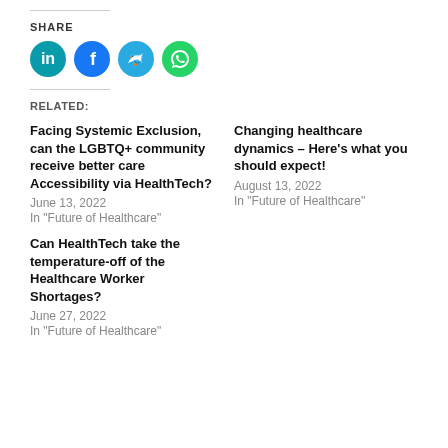SHARE
[Figure (illustration): Four social media share buttons: LinkedIn (teal), Facebook (blue), Twitter (blue), WhatsApp (green)]
RELATED:
Facing Systemic Exclusion, can the LGBTQ+ community receive better care Accessibility via HealthTech?
June 13, 2022
In "Future of Healthcare"
Changing healthcare dynamics – Here's what you should expect!
August 13, 2022
In "Future of Healthcare"
Can HealthTech take the temperature-off of the Healthcare Worker Shortages?
June 27, 2022
In "Future of Healthcare"